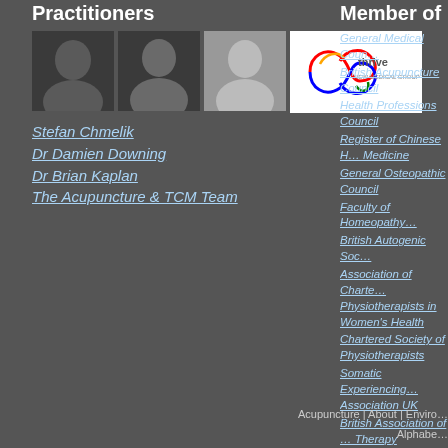Practitioners
[Figure (photo): Black and white headshot of Stefan Chmelik]
[Figure (photo): Black and white headshot of Dr Damien Downing]
[Figure (photo): Black and white headshot of Dr Brian Kaplan]
[Figure (logo): Thrive New Medical Group logo with rainbow infinity symbol]
Stefan Chmelik
Dr Damien Downing
Dr Brian Kaplan
The Acupuncture & TCM Team
Member of
General Medical Council
British Acupuncture Council
Health Professions Council
Register of Chinese Herbal Medicine
General Osteopathic Council
Faculty of Homeopathy
British Autogenic Society
Association of Chartered Physiotherapists in Women's Health
Chartered Society of Physiotherapists
Somatic Experiencing Association UK
British Association of Art Therapy
The British Society for Ecological Medicine
YES TO LIFE
Society of Biology
Acupuncture | About | Environmental Medicine | Alphabetical list of conditions